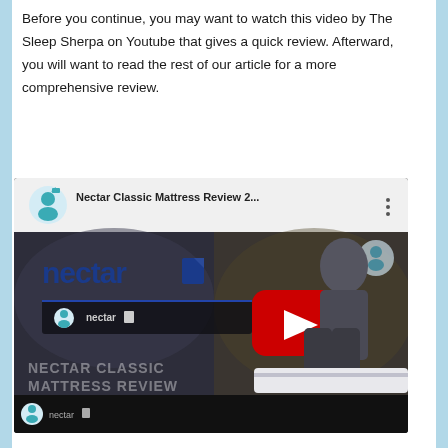Before you continue, you may want to watch this video by The Sleep Sherpa on Youtube that gives a quick review. Afterward, you will want to read the rest of our article for a more comprehensive review.
[Figure (screenshot): Embedded YouTube video thumbnail showing 'Nectar Classic Mattress Review 2...' with The Sleep Sherpa channel avatar, a man sitting on a white mattress, nectar brand logo, and a YouTube play button overlay. Bottom text reads 'NECTAR CLASSIC MATTRESS REVIEW'.]